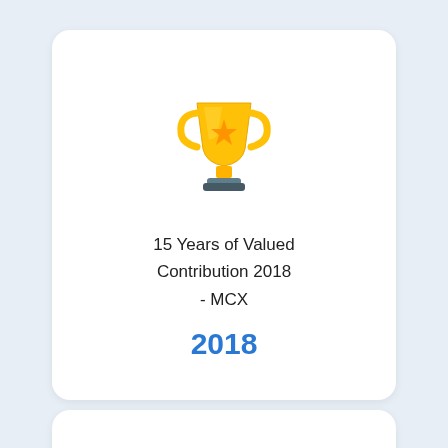[Figure (illustration): Gold trophy icon with star emblem and dark base, large size]
15 Years of Valued Contribution 2018 - MCX
2018
[Figure (illustration): Gold trophy icon with star emblem and dark base, smaller size]